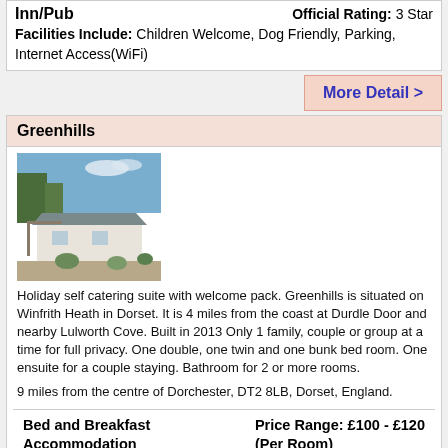Inn/Pub   Official Rating: 3 Star
Facilities Include: Children Welcome, Dog Friendly, Parking, Internet Access(WiFi)
More Detail >
Greenhills
[Figure (photo): Exterior photo of a single-storey white bungalow with a grey roof and pergola structure, surrounded by garden and gravel.]
Holiday self catering suite with welcome pack. Greenhills is situated on Winfrith Heath in Dorset. It is 4 miles from the coast at Durdle Door and nearby Lulworth Cove. Built in 2013 Only 1 family, couple or group at a time for full privacy. One double, one twin and one bunk bed room. One ensuite for a couple staying. Bathroom for 2 or more rooms.
9 miles from the centre of Dorchester, DT2 8LB, Dorset, England.
Bed and Breakfast Accommodation   Price Range: £100 - £120 (Per Room)